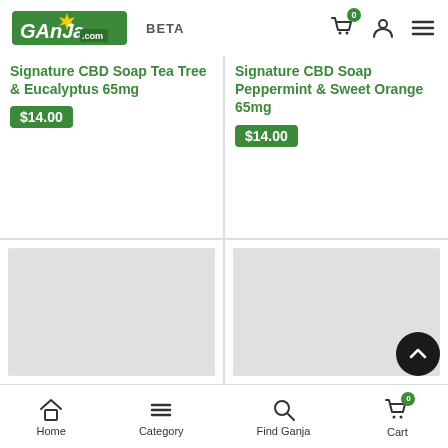Ganja.com BETA
Signature CBD Soap Tea Tree & Eucalyptus 65mg
$14.00
Signature CBD Soap Peppermint & Sweet Orange 65mg
$14.00
[Figure (photo): Product image placeholder (gray rectangle) bottom left]
[Figure (photo): Product image placeholder (gray rectangle) bottom right]
Home   Category   Find Ganja   Cart